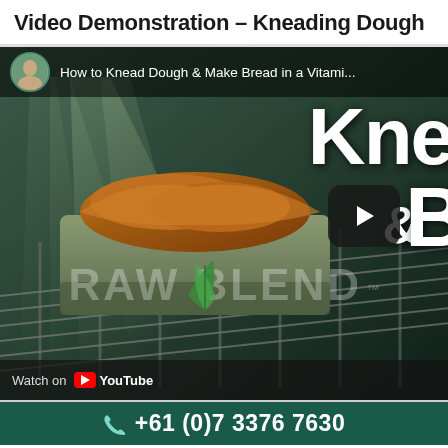Video Demonstration – Kneading Dough
[Figure (screenshot): YouTube video thumbnail/player showing a bread loaf in an oven with title text 'How to Knead Dough & Make Bread in a Vitami...' with a play button overlay, RAW BLEND logo, and 'Watch on YouTube' bar at the bottom]
+61 (0)7 3376 7630